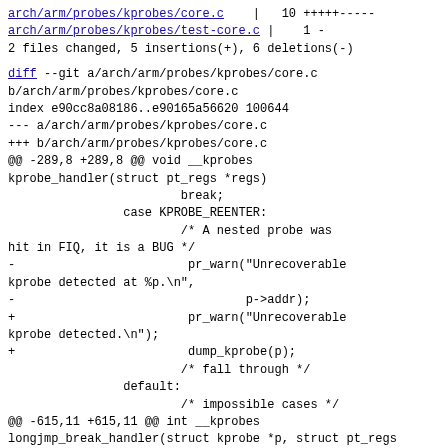arch/arm/probes/kprobes/core.c    |   10 +++++-----
arch/arm/probes/kprobes/test-core.c |    1 -
2 files changed, 5 insertions(+), 6 deletions(-)
diff --git a/arch/arm/probes/kprobes/core.c b/arch/arm/probes/kprobes/core.c
index e90cc8a08186..e90165a56620 100644
--- a/arch/arm/probes/kprobes/core.c
+++ b/arch/arm/probes/kprobes/core.c
@@ -289,8 +289,8 @@ void __kprobes kprobe_handler(struct pt_regs *regs)
                        break;
                case KPROBE_REENTER:
                        /* A nested probe was hit in FIQ, it is a BUG */
-                        pr_warn("Unrecoverable kprobe detected at %p.\n",
-                                p->addr);
+                        pr_warn("Unrecoverable kprobe detected.\n");
+                        dump_kprobe(p);
                        /* fall through */
                default:
                        /* impossible cases */
@@ -615,11 +615,11 @@ int __kprobes longjmp_break_handler(struct kprobe *p, struct pt_regs *regs)
                if (orig_sp != stack_addr) {
                        struct pt_regs *saved_regs =
                                (struct pt_regs *)kcb-